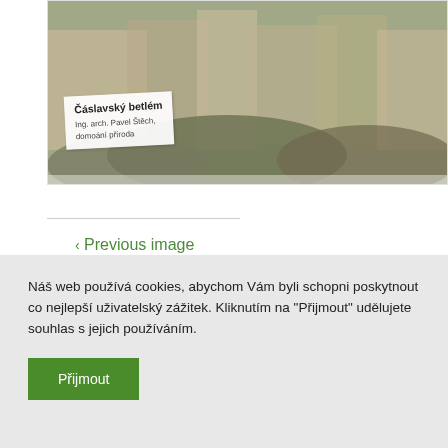[Figure (photo): Photo of a nativity scene model (betlém) displayed behind glass, with a label card reading 'Čáslavský betlém' and 'Ing. arch. Pavel Štěch, domoání příroda']
< Previous image
Náš web používá cookies, abychom Vám byli schopni poskytnout co nejlepší uživatelský zážitek. Kliknutím na "Přijmout" udělujete souhlas s jejich používáním.
Přijmout